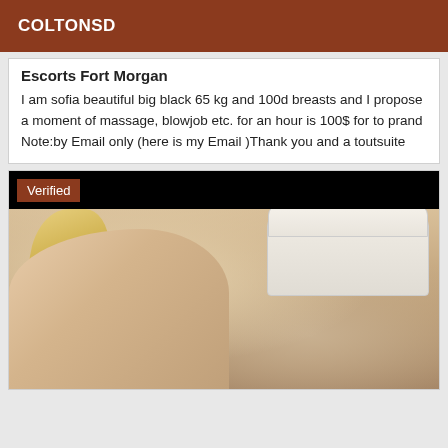COLTONSD
Escorts Fort Morgan
I am sofia beautiful big black 65 kg and 100d breasts and I propose a moment of massage, blowjob etc. for an hour is 100$ for to prand Note:by Email only (here is my Email )Thank you and a toutsuite
[Figure (photo): Photo of a blonde woman reclining on the floor in front of a white sofa, wearing lingerie and heels. A black bar redacts her face at the top. A 'Verified' badge appears in the top-left corner.]